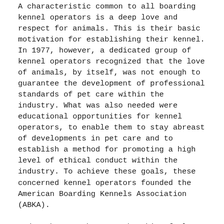A characteristic common to all boarding kennel operators is a deep love and respect for animals. This is their basic motivation for establishing their kennel. In 1977, however, a dedicated group of kennel operators recognized that the love of animals, by itself, was not enough to guarantee the development of professional standards of pet care within the industry. What was also needed were educational opportunities for kennel operators, to enable them to stay abreast of developments in pet care and to establish a method for promoting a high level of ethical conduct within the industry. To achieve these goals, these concerned kennel operators founded the American Boarding Kennels Association (ABKA).
Today the ABKA has a membership of almost 1,600 kennels throughout the U.S. and Canada. By means of its publications, conventions, seminars, regional meetings, ethics program, certification program for kennel operators, accreditation program for kennels, and industry committees, the Association helps member kennels to develop and maintain the